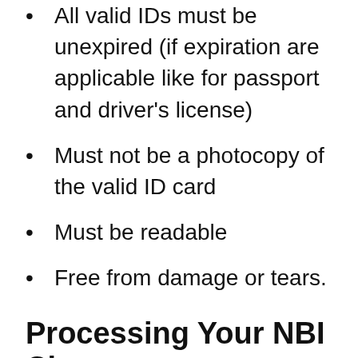All valid IDs must be unexpired (if expiration are applicable like for passport and driver's license)
Must not be a photocopy of the valid ID card
Must be readable
Free from damage or tears.
Processing Your NBI Clearance